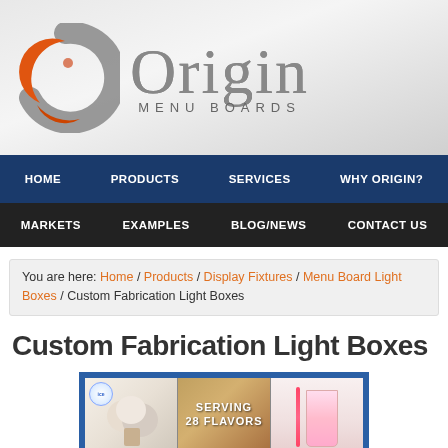[Figure (logo): Origin Menu Boards logo with circular orange and gray swoosh graphic and 'Origin MENU BOARDS' text]
HOME | PRODUCTS | SERVICES | WHY ORIGIN?
MARKETS | EXAMPLES | BLOG/NEWS | CONTACT US
You are here: Home / Products / Display Fixtures / Menu Board Light Boxes / Custom Fabrication Light Boxes
Custom Fabrication Light Boxes
[Figure (photo): Light box menu board display showing ice cream scoops across three panels with 'SERVING 28 FLAVORS' text and a milkshake on the right panel]